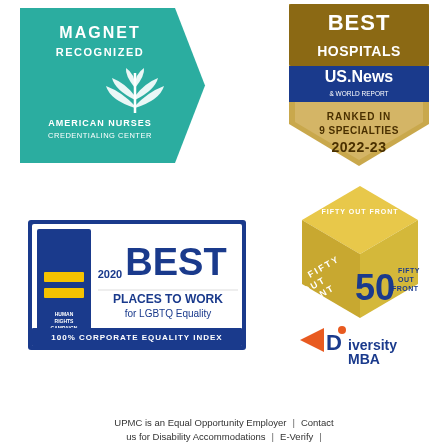[Figure (logo): Magnet Recognized - American Nurses Credentialing Center badge (teal/green pentagon shape with wheat symbol)]
[Figure (logo): U.S. News & World Report Best Hospitals badge - Ranked in 9 Specialties 2022-23 (gold shield shape)]
[Figure (logo): Human Rights Campaign - Best Places to Work for LGBTQ Equality 2020 - 100% Corporate Equality Index badge (blue bordered box)]
[Figure (logo): Fifty Out Front - DiversityMBA badge (gold hexagonal cube with DiversityMBA logo below)]
UPMC is an Equal Opportunity Employer | Contact us for Disability Accommodations | E-Verify |